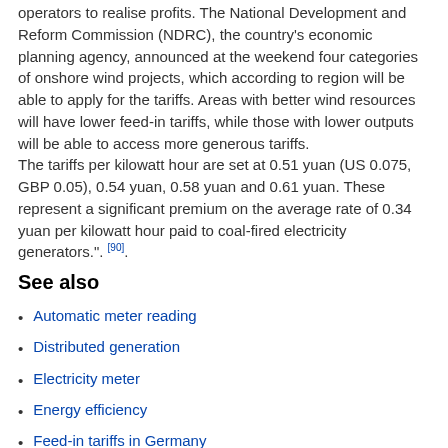operators to realise profits. The National Development and Reform Commission (NDRC), the country's economic planning agency, announced at the weekend four categories of onshore wind projects, which according to region will be able to apply for the tariffs. Areas with better wind resources will have lower feed-in tariffs, while those with lower outputs will be able to access more generous tariffs.
The tariffs per kilowatt hour are set at 0.51 yuan (US 0.075, GBP 0.05), 0.54 yuan, 0.58 yuan and 0.61 yuan. These represent a significant premium on the average rate of 0.34 yuan per kilowatt hour paid to coal-fired electricity generators.". [90].
See also
Automatic meter reading
Distributed generation
Electricity meter
Energy efficiency
Feed-in tariffs in Germany
Net metering
Power Purchase Agreement